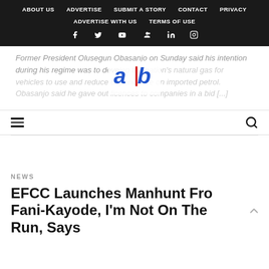ABOUT US   ADVERTISE   SUBMIT A STORY   CONTACT   PRIVACY   ADVERTISE WITH US   TERMS OF USE
Former President Olusegun Obasanjo on Sunday said his intention during his regime was to develop the nation's natural gas for vehicles to use and reduce dependence on imported petrol. Obasanjo said he gave out licences to companies in a bid [...]
[Figure (logo): ab logo - blue lowercase 'a' and 'b' letters with a red vertical stroke between them]
NEWS
EFCC Launches Manhunt Fro Fani-Kayode, I'm Not On The Run, Says